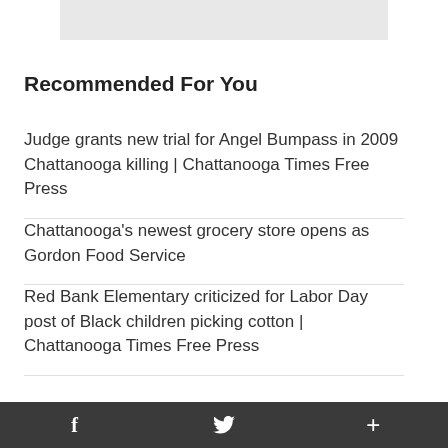[Figure (other): Gray rectangular banner/image placeholder at top center]
Recommended For You
Judge grants new trial for Angel Bumpass in 2009 Chattanooga killing | Chattanooga Times Free Press
Chattanooga's newest grocery store opens as Gordon Food Service
Red Bank Elementary criticized for Labor Day post of Black children picking cotton | Chattanooga Times Free Press
f  🐦  +